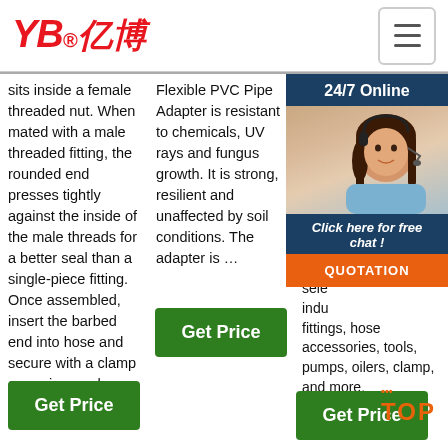YB亿博® [logo with hamburger menu]
sits inside a female threaded nut. When mated with a male threaded fitting, the rounded end presses tightly against the inside of the male threads for a better seal than a single-piece fitting. Once assembled, insert the barbed end into hose and secure with a clamp or a crimp-on hose ...
Get Price
Flexible PVC Pipe Adapter is resistant to chemicals, UV rays and fungus growth. It is strong, resilient and unaffected by soil conditions. The adapter is …
Get Price
supplier. We spe... indu... app... requ... hos... rub... and... ass... also... the... sele... indu... fittings, hose accessories, tools, pumps, oilers, clamp, and more.
[Figure (photo): Customer service agent with headset, 24/7 Online chat overlay with dark blue background and orange QUOTATION button]
Get Price